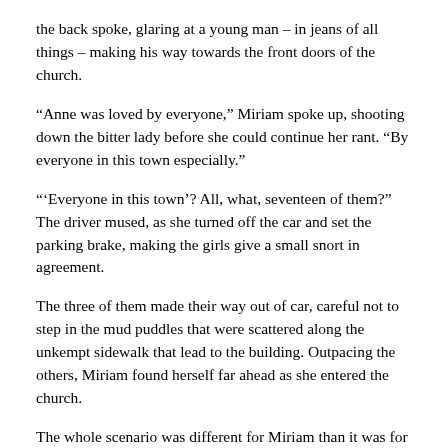the back spoke, glaring at a young man – in jeans of all things – making his way towards the front doors of the church.
“Anne was loved by everyone,” Miriam spoke up, shooting down the bitter lady before she could continue her rant. “By everyone in this town especially.”
“‘Everyone in this town’? All, what, seventeen of them?” The driver mused, as she turned off the car and set the parking brake, making the girls give a small snort in agreement.
The three of them made their way out of car, careful not to step in the mud puddles that were scattered along the unkempt sidewalk that lead to the building. Outpacing the others, Miriam found herself far ahead as she entered the church.
The whole scenario was different for Miriam than it was for the others. Despite Anne being co-workers and friends with all of them, Anne had been Miriam’s desk partner. The two of them spent more time together than they did with their own spouses.